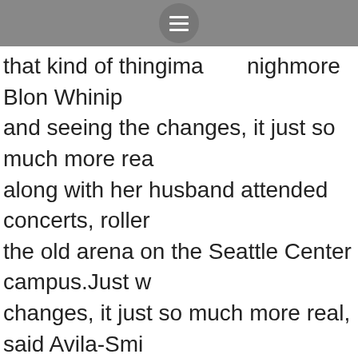[navigation bar with hamburger menu icon]
that kind of thingina… …nighmore Blon Whinips and seeing the changes, it just so much more rea along with her husband attended concerts, roller the old arena on the Seattle Center campus.Just w changes, it just so much more real, said Avila-Smi husband attended concerts, roller derby and the on the Seattle Center campus.
is the Anaheim Ducks' official website and the Ana is the Anaheim Ducks' official mobile app, and the operated by the NHL.So that was exciting.Lindbl $9 customize your own jersey contract with the F for ages 4…